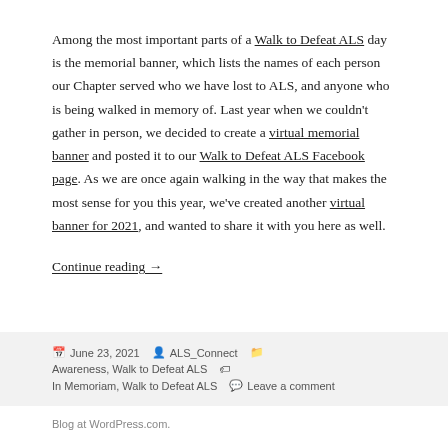Among the most important parts of a Walk to Defeat ALS day is the memorial banner, which lists the names of each person our Chapter served who we have lost to ALS, and anyone who is being walked in memory of. Last year when we couldn't gather in person, we decided to create a virtual memorial banner and posted it to our Walk to Defeat ALS Facebook page. As we are once again walking in the way that makes the most sense for you this year, we've created another virtual banner for 2021, and wanted to share it with you here as well.
Continue reading →
June 23, 2021  ALS_Connect  Awareness, Walk to Defeat ALS  In Memoriam, Walk to Defeat ALS  Leave a comment
Blog at WordPress.com.